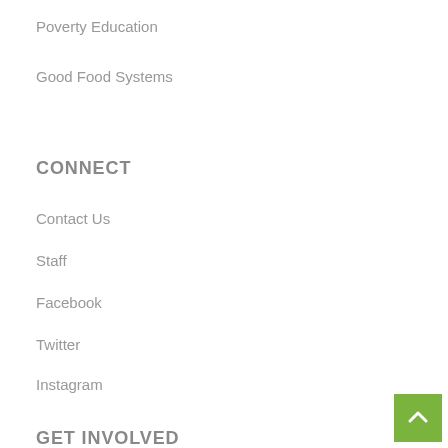Poverty Education
Good Food Systems
CONNECT
Contact Us
Staff
Facebook
Twitter
Instagram
GET INVOLVED
Train With Us
Job/Volunteer Opportunities